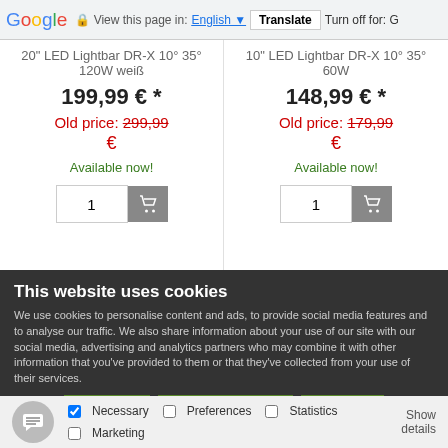Google  View this page in: English  Translate  Turn off for: G
20" LED Lightbar DR-X 10° 35° 120W weiß
199,99 € *
Old price: 299,99 €
Available now!
10" LED Lightbar DR-X 10° 35° 60W
148,99 € *
Old price: 179,99 €
Available now!
This website uses cookies
We use cookies to personalise content and ads, to provide social media features and to analyse our traffic. We also share information about your use of our site with our social media, advertising and analytics partners who may combine it with other information that you've provided to them or that they've collected from your use of their services.
Decline
Allow selection
Accept
Necessary  Preferences  Statistics  Marketing  Show details